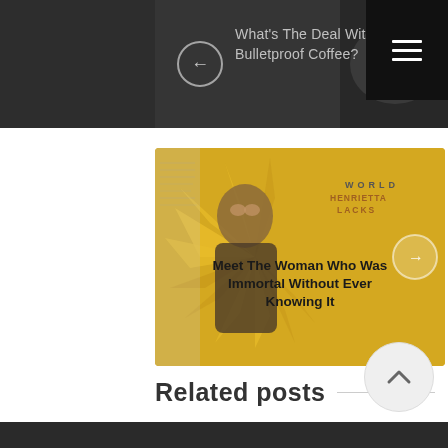[Figure (screenshot): Navigation card with back arrow button and title 'What's The Deal With Bulletproof Coffee?' on dark background]
What's The Deal With Bulletproof Coffee?
[Figure (illustration): Article card for 'Meet The Woman Who Was Immortal Without Ever Knowing It' with comic-style illustration of Henrietta Lacks on yellow starburst background, with forward arrow button]
Meet The Woman Who Was Immortal Without Ever Knowing It
Related posts